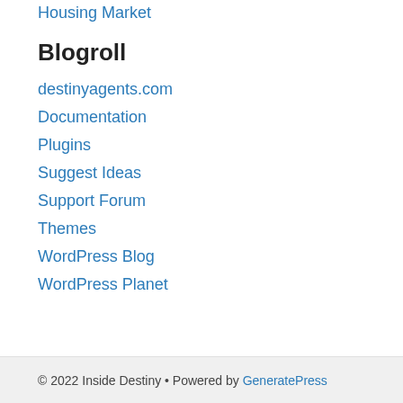Housing Market
Blogroll
destinyagents.com
Documentation
Plugins
Suggest Ideas
Support Forum
Themes
WordPress Blog
WordPress Planet
© 2022 Inside Destiny • Powered by GeneratePress